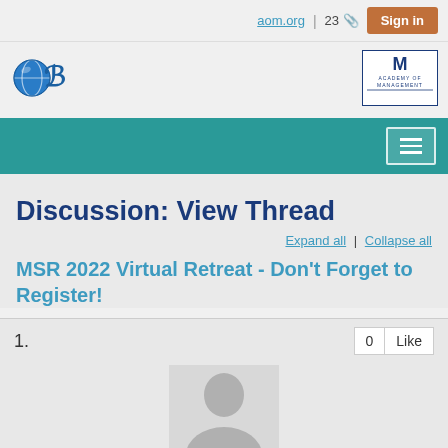aom.org | 23 | Sign in
[Figure (logo): OB division logo - blue globe with letter B]
[Figure (logo): Academy of Management logo]
[Figure (other): Teal navigation bar with hamburger menu button]
Discussion: View Thread
Expand all | Collapse all
MSR 2022 Virtual Retreat - Don't Forget to Register!
1.
0  Like
[Figure (photo): Default user avatar - gray silhouette on white background]